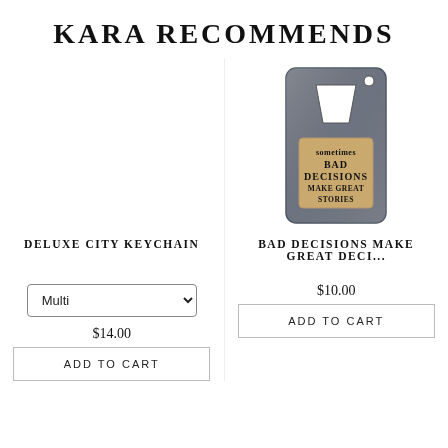KARA RECOMMENDS
[Figure (photo): A metal credit-card style bottle opener with a gold plate engraved with text: BAD DECISIONS MAKE GREAT STORIES]
DELUXE CITY KEYCHAIN
BAD DECISIONS MAKE GREAT DECI...
Multi (dropdown selector)
$14.00
$10.00
ADD TO CART
ADD TO CART